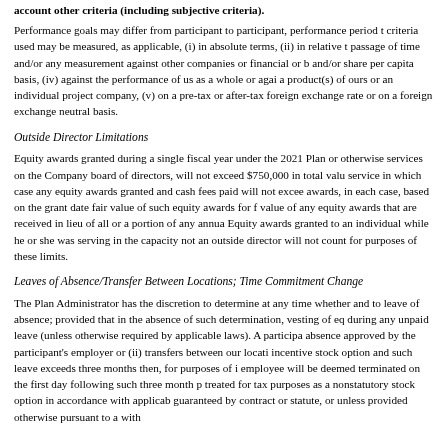account other criteria (including subjective criteria).
Performance goals may differ from participant to participant, performance period to performance period and grant to grant. The criteria used may be measured, as applicable, (i) in absolute terms, (ii) in relative terms (including, but not limited to, the passage of time and/or any measurement against other companies or financial or business benchmarks), (iii) in whole or in part and/or share per capita basis, (iv) against the performance of us as a whole or against particular segments of our business or a product(s) of ours or an individual project company, (v) on a pre-tax or after-tax basis, and/or (vi) on a constant currency or foreign exchange rate or on a foreign exchange neutral basis.
Outside Director Limitations
Equity awards granted during a single fiscal year under the 2021 Plan or otherwise, to any non-employee who provides services on the Company board of directors, will not exceed $750,000 in total value, or in the year of his or her initial service in which case any equity awards granted and cash fees paid will not exceed $1,500,000 in total value of such equity awards, in each case, based on the grant date fair value of such equity awards for financial reporting purposes. The aggregate value of any equity awards that are received in lieu of all or a portion of any annual cash retainer will not count against these limits. Equity awards granted to an individual while he or she was serving in the capacity as an employee or consultant but not an outside director will not count for purposes of these limits.
Leaves of Absence/Transfer Between Locations; Time Commitment Change
The Plan Administrator has the discretion to determine at any time whether and to what extent the vesting of awards shall toll during a leave of absence; provided that in the absence of such determination, vesting of equity awards will toll during any unpaid leave (unless otherwise required by applicable laws). A participant will not incur a termination of service due to a leave of absence approved by the participant's employer or (ii) transfers between our locations or affiliated entities. If a participant holds an incentive stock option and such leave exceeds three months then, for purposes of incentive stock option treatment the employee will be deemed terminated on the first day following such three month period and the incentive stock option will be treated for tax purposes as a nonstatutory stock option in accordance with applicable laws. Unless otherwise required by applicable law, guaranteed by contract or statute, or unless provided otherwise pursuant to a written policy adopted by the Company,